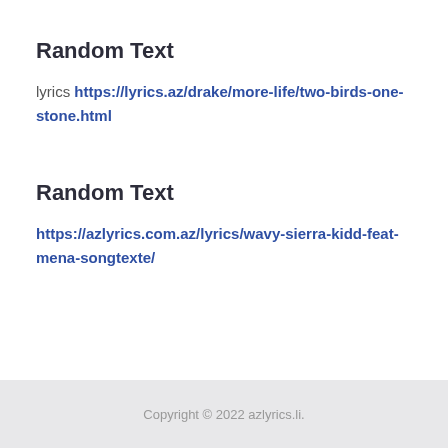Random Text
lyrics https://lyrics.az/drake/more-life/two-birds-one-stone.html
Random Text
https://azlyrics.com.az/lyrics/wavy-sierra-kidd-feat-mena-songtexte/
Copyright © 2022 azlyrics.li.